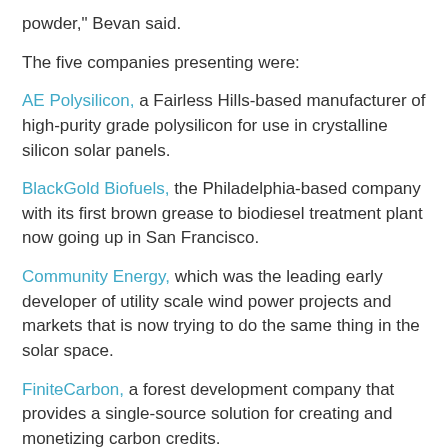powder," Bevan said.
The five companies presenting were:
AE Polysilicon, a Fairless Hills-based manufacturer of high-purity grade polysilicon for use in crystalline silicon solar panels.
BlackGold Biofuels, the Philadelphia-based company with its first brown grease to biodiesel treatment plant now going up in San Francisco.
Community Energy, which was the leading early developer of utility scale wind power projects and markets that is now trying to do the same thing in the solar space.
FiniteCarbon, a forest development company that provides a single-source solution for creating and monetizing carbon credits.
Momentum Dynamics, the Malvern-based company developing proprietary technologies that will allow electric